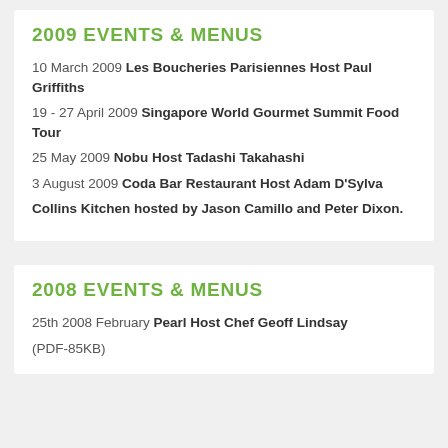2009 EVENTS & MENUS
10 March 2009 Les Boucheries Parisiennes Host Paul Griffiths
19 - 27 April 2009 Singapore World Gourmet Summit Food Tour
25 May 2009 Nobu Host Tadashi Takahashi
3 August 2009 Coda Bar Restaurant Host Adam D'Sylva
Collins Kitchen hosted by Jason Camillo and Peter Dixon.
2008 EVENTS & MENUS
25th 2008 February Pearl Host Chef Geoff Lindsay (PDF-85KB)